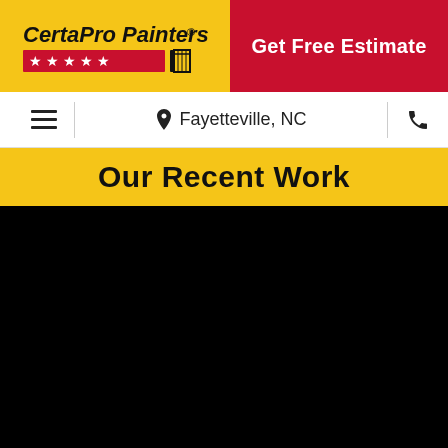[Figure (logo): CertaPro Painters logo on yellow background with red star banner]
Get Free Estimate
Fayetteville, NC
Our Recent Work
[Figure (photo): Black/dark image area showing recent painting work]